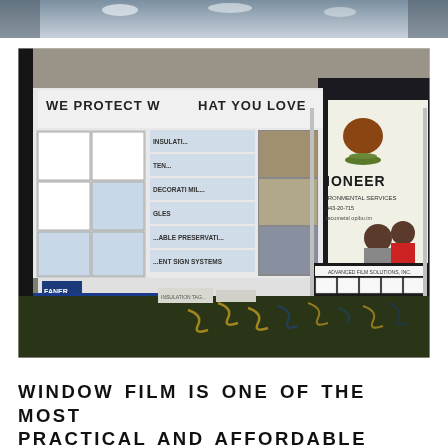[Figure (photo): Top cropped photo showing interior of a convention hall or expo venue with ceiling lights visible]
[Figure (photo): Trade show booth photo showing Advanced Film Solutions display with banner reading 'WE PROTECT WHAT YOU LOVE', blue tablecloth with Advanced Film Solutions logo, and Pioneer Environmental Services booth visible in the background on a patterned carpet floor]
WINDOW FILM IS ONE OF THE MOST PRACTICAL AND AFFORDABLE ENERGY UPGRADES ANY